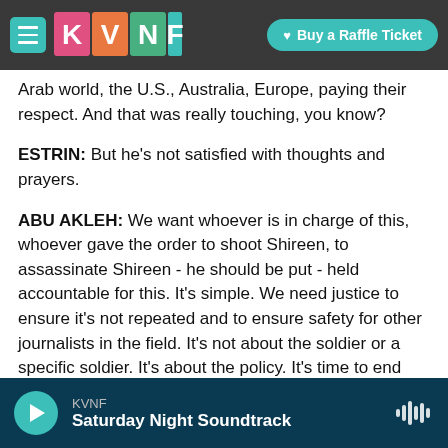KVNF — Buy a Raffle Ticket
Arab world, the U.S., Australia, Europe, paying their respect. And that was really touching, you know?
ESTRIN: But he's not satisfied with thoughts and prayers.
ABU AKLEH: We want whoever is in charge of this, whoever gave the order to shoot Shireen, to assassinate Shireen - he should be put - held accountable for this. It's simple. We need justice to ensure it's not repeated and to ensure safety for other journalists in the field. It's not about the soldier or a specific soldier. It's about the policy. It's time to end these double standards which Israel
KVNF — Saturday Night Soundtrack